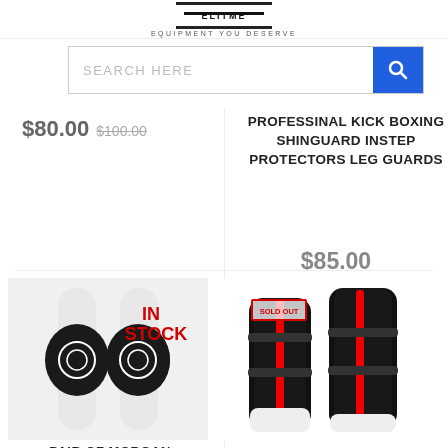EQUIPMENT YOU DESERVE
SEARCH HERE
$80.00  $100.00
PROFESSINAL KICK BOXING SHINGUARD INSTEP PROTECTORS LEG GUARDS
$85.00
[Figure (photo): Pair of black knee guards on white background with IN STOCK label in red]
[Figure (photo): Black and white kickboxing shin guards with red stripe and Sold Out overlay badge]
PAIR OF MORGAN TURTLE KNEE GUARD